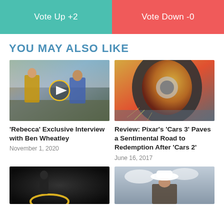[Figure (other): Vote Up +2 and Vote Down -0 buttons, teal and red background]
YOU MAY ALSO LIKE
[Figure (photo): Two men on a terrace, one in yellow suit, one in blue shirt — Rebecca interview thumbnail with play button]
'Rebecca' Exclusive Interview with Ben Wheatley
November 1, 2020
[Figure (photo): Close-up of a yellow race car tire with sparks — Cars 3 movie review thumbnail]
Review: Pixar's 'Cars 3' Paves a Sentimental Road to Redemption After 'Cars 2'
June 16, 2017
[Figure (photo): Dark image with glowing yellow hoop — bottom left article thumbnail]
[Figure (photo): Person in white cowboy hat against cloudy sky — bottom right article thumbnail]